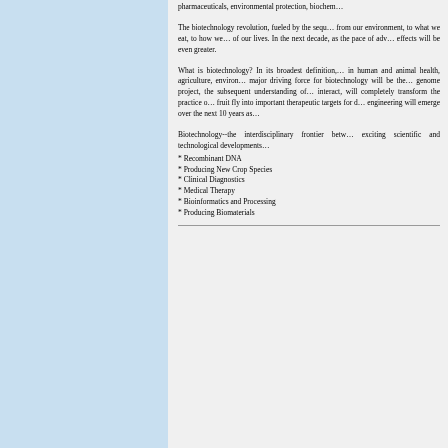pharmaceuticals, environmental protection, biochem…
The biotechnology revolution, fueled by the sequ… from our environment, to what we eat, to how we … of our lives. In the next decade, as the pace of adv… effects will be even greater.
What is biotechnology? In its broadest definition, … in human and animal health, agriculture, environ… major driving force for biotechnology will be the… genome project, the subsequent understanding of … interact, will completely transform the practice o… fruit fly into important therapeutic targets for d… engineering will emerge over the next 10 years as …
Biotechnology--the interdisciplinary frontier betw… exciting scientific and technological developments…
* Recombinant DNA
* Producing New Crop Species
* Clinical Diagnostics
* Medical Therapy
* Bioinformatics and Processing
* Producing Biomaterials